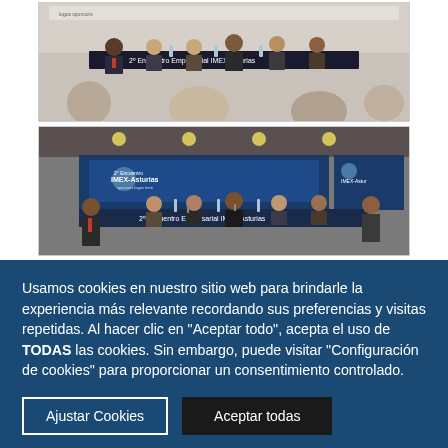[Figure (photo): Conference panel photo 1: Several men in suits seated at a long table with IMEX-Asturias branding, speaking to an audience]
[Figure (photo): Conference panel photo 2: Wide shot of the same IMEX-Asturias panel event showing panelists at a table with logos and a screen behind them]
Usamos cookies en nuestro sitio web para brindarle la experiencia más relevante recordando sus preferencias y visitas repetidas. Al hacer clic en "Aceptar todo", acepta el uso de TODAS las cookies. Sin embargo, puede visitar "Configuración de cookies" para proporcionar un consentimiento controlado.